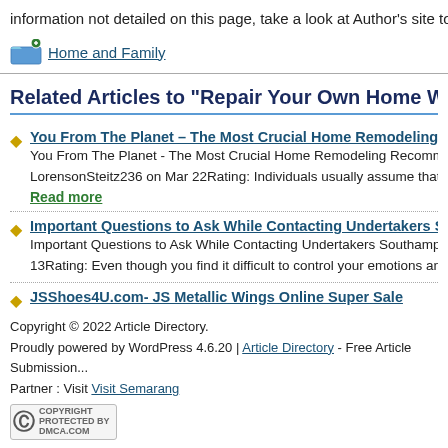information not detailed on this page, take a look at Author's site to unc...
[Figure (illustration): Folder icon with green plus badge]
Home and Family
Related Articles to "Repair Your Own Home Without The A..."
You From The Planet – The Most Crucial Home Remodeling Re...
You From The Planet - The Most Crucial Home Remodeling Recommen... LorensonSteitz236 on Mar 22Rating: Individuals usually assume that en...
Read more
Important Questions to Ask While Contacting Undertakers Sou...
Important Questions to Ask While Contacting Undertakers Southampton... 13Rating: Even though you find it difficult to control your emotions and re...
JSShoes4U.com- JS Metallic Wings Online Super Sale
JSShoes4U.com- JS Metallic Wings Online Super SaleReviewed by Xia... nodded silently, she summon up courage to follow them farther. But her ...
Copyright © 2022 Article Directory.
Proudly powered by WordPress 4.6.20 | Article Directory - Free Article Submission...
Partner : Visit Visit Semarang